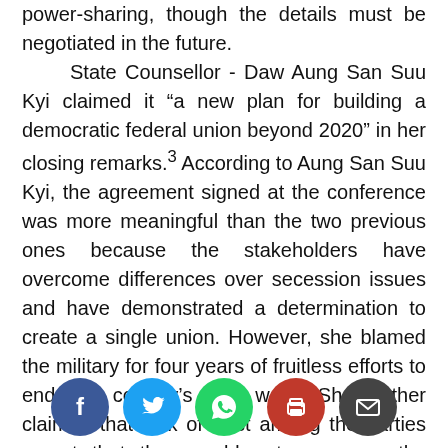power-sharing, though the details must be negotiated in the future.

State Counsellor - Daw Aung San Suu Kyi claimed it “a new plan for building a democratic federal union beyond 2020” in her closing remarks.3 According to Aung San Suu Kyi, the agreement signed at the conference was more meaningful than the two previous ones because the stakeholders have overcome differences over secession issues and have demonstrated a determination to create a single union. However, she blamed the military for four years of fruitless efforts to end the country’s civil wars. She further claimed that lack of trust among the parties meant that they could not agree on the fundamental
[Figure (other): Social sharing icons row: Facebook (blue circle), Twitter (light blue circle), WhatsApp (green circle), Print (red circle), Email (dark grey circle)]